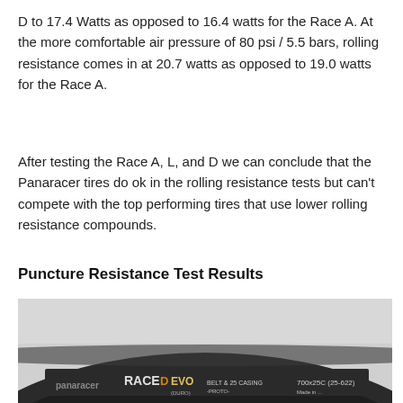D to 17.4 Watts as opposed to 16.4 watts for the Race A. At the more comfortable air pressure of 80 psi / 5.5 bars, rolling resistance comes in at 20.7 watts as opposed to 19.0 watts for the Race A.
After testing the Race A, L, and D we can conclude that the Panaracer tires do ok in the rolling resistance tests but can't compete with the top performing tires that use lower rolling resistance compounds.
Puncture Resistance Test Results
[Figure (photo): Close-up photo of a Panaracer Race D EVO tire showing the sidewall label with branding text 'panaracer RACE D EVO DURO BELT & 25 CASING 700x25C (25-622) Made in...' on a light gray background.]